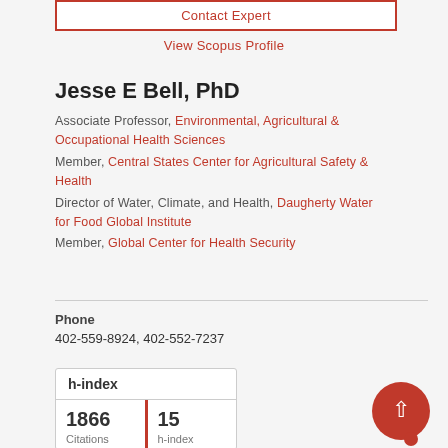Contact Expert
View Scopus Profile
Jesse E Bell, PhD
Associate Professor, Environmental, Agricultural & Occupational Health Sciences
Member, Central States Center for Agricultural Safety & Health
Director of Water, Climate, and Health, Daugherty Water for Food Global Institute
Member, Global Center for Health Security
Phone
402-559-8924, 402-552-7237
| Citations | h-index |
| --- | --- |
| 1866 | 15 |